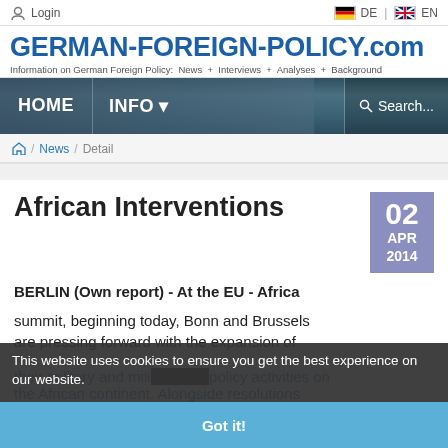Login  |  DE  |  EN
GERMAN-FOREIGN-POLICY.com
Information on German Foreign Policy:  News  +  Interviews  +  Analyses  +  Background
HOME  INFO ▾  Search...
🏠 / News / Detail
African Interventions
02 APR 2014
BERLIN (Own report) - At the EU - Africa summit, beginning today, Bonn and Brussels are pressing forward with the expansion of their military and military policy activities on the African continent. Alongside resolutions
This website uses cookies to ensure you get the best experience on our website.
Got it!